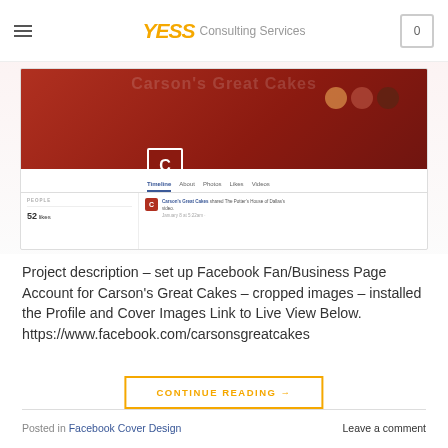YESS Consulting Services
[Figure (screenshot): Screenshot of Carson's Great Cakes Facebook Fan/Business Page showing the cover photo with cakes, profile picture, page name, nav tabs (Timeline, About, Photos, Likes, Videos), 52 likes, and a shared post from The Potter's House of Dallas.]
Project description – set up Facebook Fan/Business Page Account for Carson's Great Cakes – cropped images – installed the Profile and Cover Images Link to Live View Below. https://www.facebook.com/carsonsgreatcakes
CONTINUE READING →
Posted in Facebook Cover Design   Leave a comment